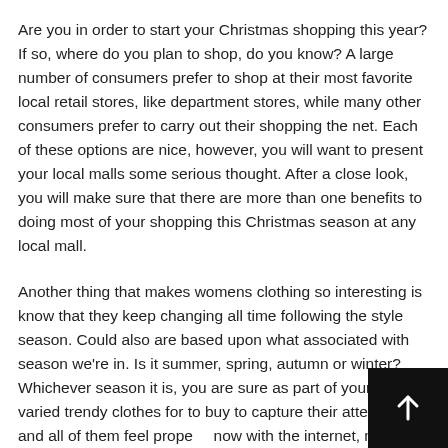Are you in order to start your Christmas shopping this year? If so, where do you plan to shop, do you know? A large number of consumers prefer to shop at their most favorite local retail stores, like department stores, while many other consumers prefer to carry out their shopping the net. Each of these options are nice, however, you will want to present your local malls some serious thought. After a close look, you will make sure that there are more than one benefits to doing most of your shopping this Christmas season at any local mall.
Another thing that makes womens clothing so interesting is know that they keep changing all time following the style season. Could also are based upon what associated with season we're in. Is it summer, spring, autumn or winter? Whichever season it is, you are sure as part of your loads of varied trendy clothes for to buy to capture their attention and all of them feel prope... now with the internet, much more it an extensive lot easier for